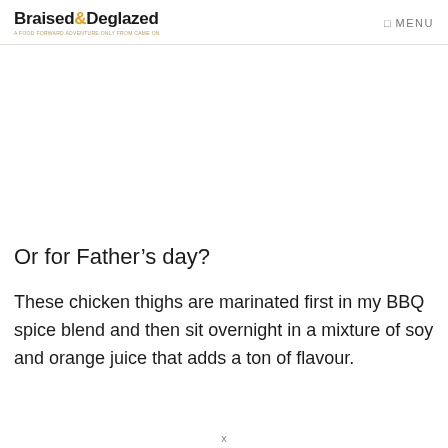Braised&Deglazed  MENU
Or for Father’s day?
These chicken thighs are marinated first in my BBQ spice blend and then sit overnight in a mixture of soy and orange juice that adds a ton of flavour.